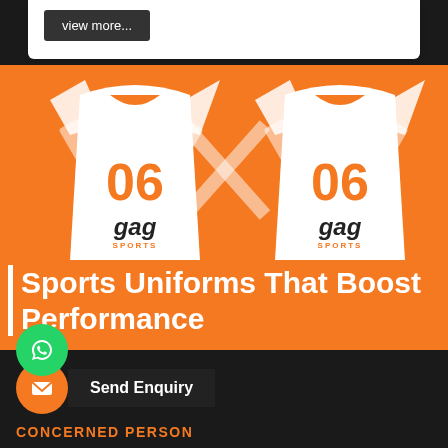view more...
[Figure (illustration): Two white sports jerseys with number 06 in orange and 'gag' text logo on orange background]
Sports Uniforms That Boost Performance
[Figure (logo): WhatsApp green circle button]
[Figure (logo): Orange circle send enquiry icon]
Send Enquiry
CONCERNED PERSON
GAURAV SINGLA
41, Ram Sharnam Colony, Basti Danishmandan, Jalandhar -